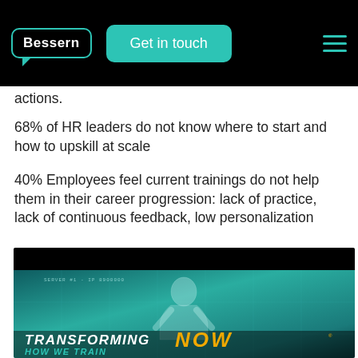Bessern | Get in touch
actions.
68% of HR leaders do not know where to start and how to upskill at scale
40% Employees feel current trainings do not help them in their career progression: lack of practice, lack of continuous feedback, low personalization
[Figure (photo): Teal-toned promotional image with a human silhouette and bold text reading TRANSFORMING HOW WE TRAIN NOW]